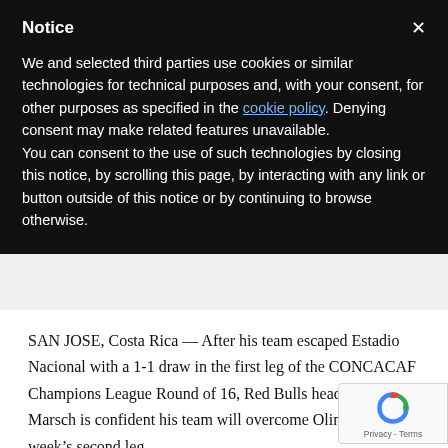Notice
We and selected third parties use cookies or similar technologies for technical purposes and, with your consent, for other purposes as specified in the cookie policy. Denying consent may make related features unavailable.
You can consent to the use of such technologies by closing this notice, by scrolling this page, by interacting with any link or button outside of this notice or by continuing to browse otherwise.
SAN JOSE, Costa Rica — After his team escaped Estadio Nacional with a 1-1 draw in the first leg of the CONCACAF Champions League Round of 16, Red Bulls head coach Jesse Marsch is confident his team will overcome Olimpia in next week's second leg.
“We feel good about that going back to Red Bull Arena,” he said.